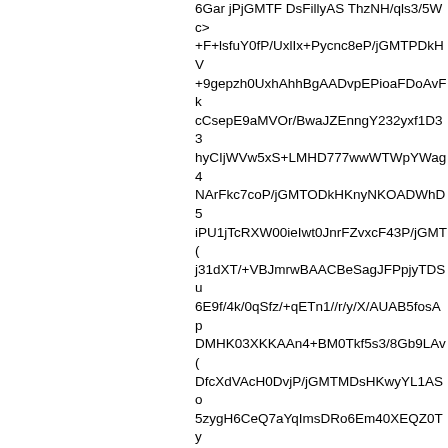6Gar jPjGMTF DsFillyAS ThzNH/qls3/5Wc...
+F+lsfuY0fP/UxlIx+Pycnc8eP/jGMTPDkHV...
+9gepzh0UxhAhhBgAADvpEPioaFDoAvFk...
cCsepE9aMVOr/BwaJZEnngY232yxf1D33...
hyCIjWVw5xS+LMHD777wwWTWpYWag4...
NArFkc7coP/jGMTODkHKnyNKOADWhD5...
iPU1jTcRXW00ieIwt0JnrFZvxcF43P/jGMT(...
j31dXT/+VBJmrwBAACBeSagJFPpjyTDSu...
6E9f/4k/0qSfz/+qETn1//r/y/X/AUAB5fosAp...
DMHK03XKKAAn4+BM0Tkf5s3/8Gb9LAv(...
DfcXdVAcH0DvjP/jGMTMDsHKwyYL1ASo...
5zygH6CeQ7aYqImsDRo6Em40XEQZ0Ty...
T+xb9v1fLIjX6z36YjTUQSMcJQWNaKvOE...
ahf/HOS9q+cBZ/+5QSW/9CP1u+Ifa79fEA...
GMTODwHKzyQLCgy/fr245/0DvL+/lQx/6ig...
76C01QfXQRLbkNRC+v/jGMTNDkIGy0w7...
3/Ke26Sg7aI+x7RMfeqVbhr6XNPxFXFhfQ...
3of/0mDP/yjfuX7f/ysCACAX/RI87KQB67xn...
o0rU3iB2vqMW5DA7/LP+zgm/9Ye/lAz1fz3...
r//jGMTTD8I6v3AT1ATf6dAK1fR/zH1f5zk4...
TszX5NDJUh1BXKxC3M8N1P/jGMTPDwI...
LekoB+gItOusBaCulz/9thNcSP91KgDyXJF...
qtkJL/81tCb+rfs3//cu38t6/y36gORoFljcZAZ...
ylBblD/n/9hpp7P/Lv/zjtzG/+aW5392/ISX//q...
2o18RP/jGMTNDgJqzyATThACzfEWb+ME...
yzr6Vfz6hqq6nQ+cQZxTh3q55//jGMTQD8...
v/oEnx38ErGkupefqXz5ym319wq9GI9Z5fc...
R//8t0HfoPv/537n/Uk+nR//+kt/G/QDSo74D...
wyBpyoDfKhNb/VtPPb9Bk7//1N8v9Wf/9v5...
bOAb9qmeov/jGMTNDkGa1ywryihD/9sz0T...
3GygouC25YLqjcFY+hWQHi7TzotHdv/jGM...